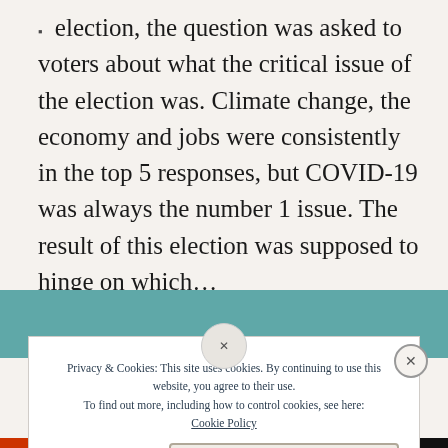election, the question was asked to voters about what the critical issue of the election was. Climate change, the economy and jobs were consistently in the top 5 responses, but COVID-19 was always the number 1 issue. The result of this election was supposed to hinge on which...
Privacy & Cookies: This site uses cookies. By continuing to use this website, you agree to their use. To find out more, including how to control cookies, see here: Cookie Policy
Close and accept